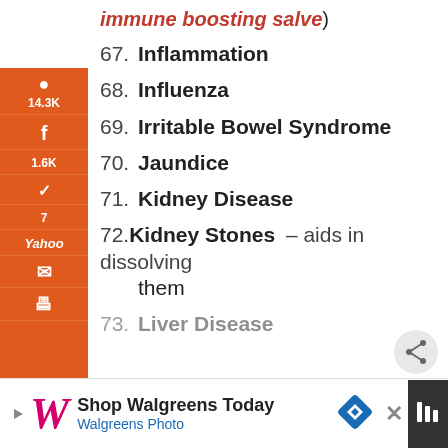immune boosting salve)
67. Inflammation
68. Influenza
69. Irritable Bowel Syndrome
70. Jaundice
71. Kidney Disease
72. Kidney Stones – aids in dissolving them
73. Liver Disease
15.8K SHARES
[Figure (screenshot): Walgreens advertisement banner at bottom of page]